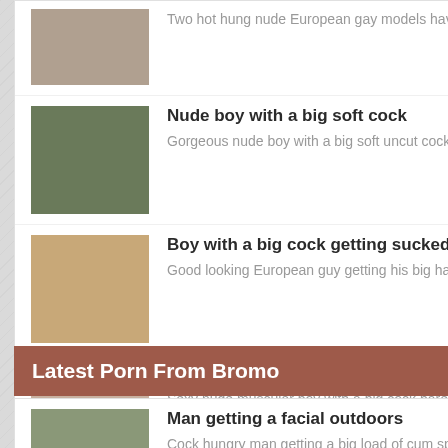Two hot hung nude European gay models having anal sex, bareback style
Nude boy with a big soft cock
Gorgeous nude boy with a big soft uncut cock. Would like to give him a
Boy with a big cock getting sucked
Good looking European guy getting his big hard uncut cock sucked
Handsome boys bareback fucking
Sexy nude muscular boy with a big cock bareback fucking his buddy
Latest Porn From Bromo
Man getting a facial outdoors
Cock hungry man getting a big load of cum sprayed on his face